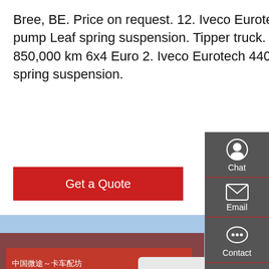Bree, BE. Price on request. 12. Iveco Eurotech 440.52 6X4 Manual gear Manual pump Leaf spring suspension. Tipper truck. €14,600. Hooge Mierde, NL. 1999 850,000 km 6x4 Euro 2. Iveco Eurotech 440.52 6X4 Manual gear Manual pump Leaf spring suspension.
Get a Quote
[Figure (photo): White HOWO heavy-duty truck parked in front of a commercial building with Chinese signage, blue sky background.]